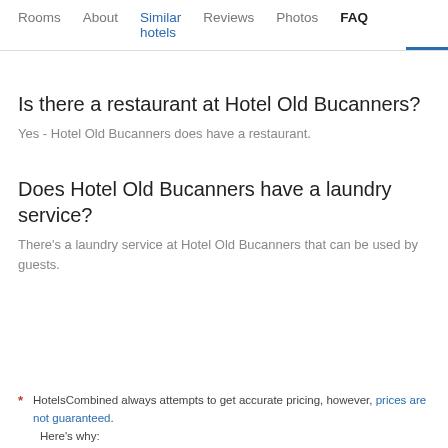Rooms   About   Similar hotels   Reviews   Photos   FAQ
Is there a restaurant at Hotel Old Bucanners?
Yes - Hotel Old Bucanners does have a restaurant.
Does Hotel Old Bucanners have a laundry service?
There's a laundry service at Hotel Old Bucanners that can be used by guests.
* HotelsCombined always attempts to get accurate pricing, however, prices are not guaranteed.
Here's why: